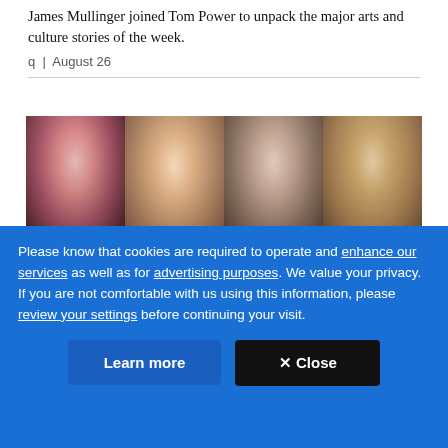James Mullinger joined Tom Power to unpack the major arts and culture stories of the week.
q | August 26
[Figure (photo): Four portrait photos side by side: a white-haired woman performing on stage with a microphone, a smiling man with dark hair, a woman with short brown hair, and a man with grey-streaked hair.]
Please know that cookies are required to operate and enhance our services as well as for advertising purposes. We value your privacy. If you are not comfortable with us using this information, please review your settings before continuing your visit.
Learn more
✕ Close